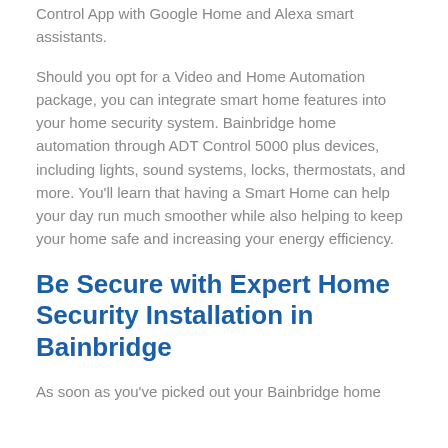Control App with Google Home and Alexa smart assistants.
Should you opt for a Video and Home Automation package, you can integrate smart home features into your home security system. Bainbridge home automation through ADT Control 5000 plus devices, including lights, sound systems, locks, thermostats, and more. You'll learn that having a Smart Home can help your day run much smoother while also helping to keep your home safe and increasing your energy efficiency.
Be Secure with Expert Home Security Installation in Bainbridge
As soon as you've picked out your Bainbridge home